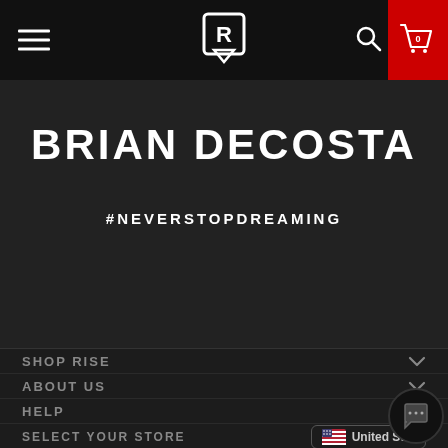Navigation bar with hamburger menu, logo, search icon, cart (0)
BRIAN DECOSTA
#NEVERSTOPDREAMING
SHOP RISE
ABOUT US
HELP
SELECT YOUR STORE — United States